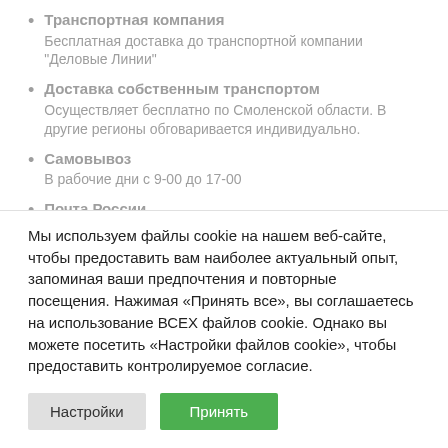Транспортная компания
Бесплатная доставка до транспортной компании "Деловые Линии"
Доставка собственным транспортом
Осуществляет бесплатно по Смоленской области. В другие регионы обговаривается индивидуально.
Самовывоз
В рабочие дни с 9-00 до 17-00
Почта России
Мы используем файлы cookie на нашем веб-сайте, чтобы предоставить вам наиболее актуальный опыт, запоминая ваши предпочтения и повторные посещения. Нажимая «Принять все», вы соглашаетесь на использование ВСЕХ файлов cookie. Однако вы можете посетить «Настройки файлов cookie», чтобы предоставить контролируемое согласие.
Настройки | Принять